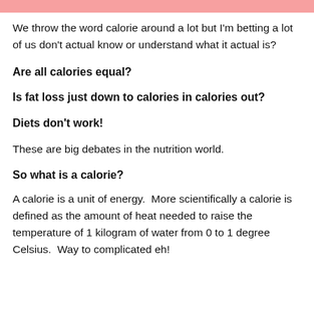[Figure (other): Pink/salmon colored decorative banner at top of page]
We throw the word calorie around a lot but I'm betting a lot of us don't actual know or understand what it actual is?
Are all calories equal?
Is fat loss just down to calories in calories out?
Diets don't work!
These are big debates in the nutrition world.
So what is a calorie?
A calorie is a unit of energy.  More scientifically a calorie is defined as the amount of heat needed to raise the temperature of 1 kilogram of water from 0 to 1 degree Celsius.  Way to complicated eh!